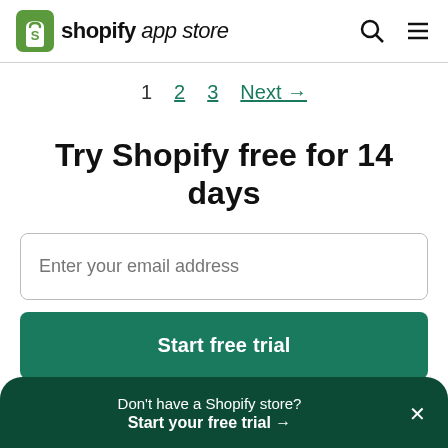shopify app store
1  2  3  Next →
Try Shopify free for 14 days
Enter your email address
Start free trial
Don't have a Shopify store? Start your free trial →